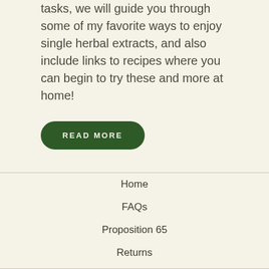tasks, we will guide you through some of my favorite ways to enjoy single herbal extracts, and also include links to recipes where you can begin to try these and more at home!
READ MORE
Home
FAQs
Proposition 65
Returns
Shipping
User Generated Content